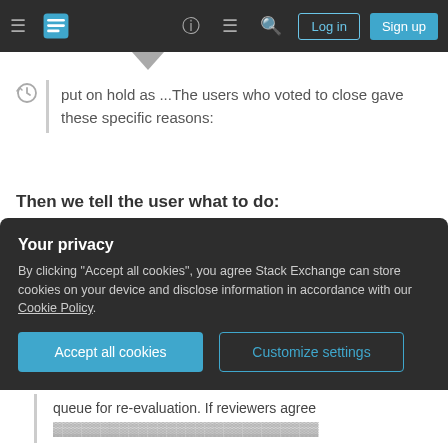Stack Exchange navigation bar with hamburger menu, logo, help, chat, search icons, Log in and Sign up buttons
put on hold as ...The users who voted to close gave these specific reasons:
Then we tell the user what to do:
If this question can be reworded to fit the rules in the help center, please edit the question or leave a comment.
Your privacy
By clicking "Accept all cookies", you agree Stack Exchange can store cookies on your device and disclose information in accordance with our Cookie Policy.
Accept all cookies  Customize settings
queue for re-evaluation. If reviewers agree